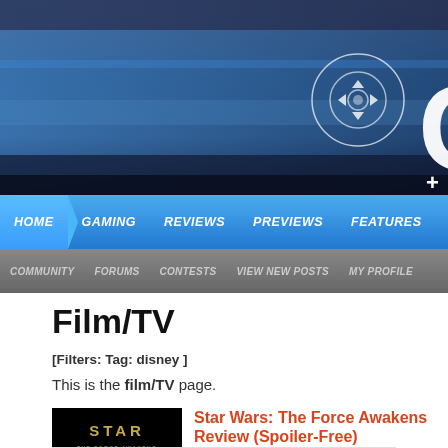[Figure (screenshot): Website header hero image with blue/dark gaming scene background, circular controller icon (d-pad with center ring), and partial white 'C' letter on the right side with a plus icon below it]
HOME | GAMING | REVIEWS | PREVIEWS | FEATURES
COMMUNITY | FORUMS | CONTESTS | VIEW NEW POSTS | MY PROFILE
Film/TV
[Filters: Tag: disney ]
This is the film/TV page.
[Figure (photo): Star Wars: The Force Awakens movie logo on black background]
Star Wars: The Force Awakens Review (Spoiler-Free)
Chip Tamplin | December 18, 2015
This is the film you've been looking for.